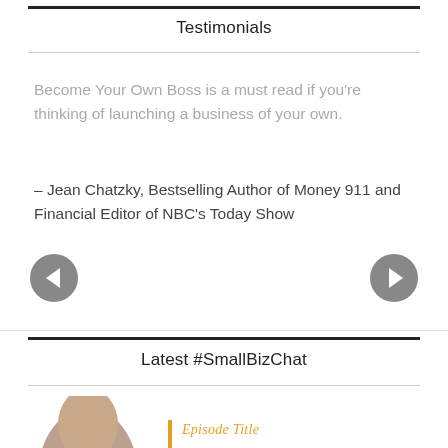Testimonials
Become Your Own Boss is a must read if you're thinking of launching a business of your own.
– Jean Chatzky, Bestselling Author of Money 911 and Financial Editor of NBC's Today Show
Latest #SmallBizChat
[Figure (photo): Partial photo of a person's head at the bottom of the page]
Episode Title